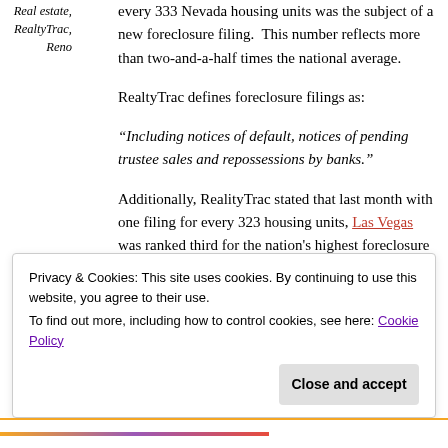Real estate, RealtyTrac, Reno
every 333 Nevada housing units was the subject of a new foreclosure filing. This number reflects more than two-and-a-half times the national average.
RealtyTrac defines foreclosure filings as:
“Including notices of default, notices of pending trustee sales and repossessions by banks.”
Additionally, RealityTrac stated that last month with one filing for every 323 housing units, Las Vegas was ranked third for the nation's highest foreclosure rate among large metropolitan areas. Nevada’s foreclosure filings have increased over 100 percent compared to
Privacy & Cookies: This site uses cookies. By continuing to use this website, you agree to their use.
To find out more, including how to control cookies, see here: Cookie Policy
Close and accept